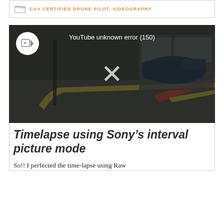CAA CERTIFIED DRONE PILOT, VIDEOGRAPHY
[Figure (screenshot): YouTube video embed showing an error: 'YouTube unknown error (150)'. A play button circle icon is in the top-left. A large X is centered. Background shows a dark nighttime street scene with a car and road markings.]
Timelapse using Sony’s interval picture mode
So!! I perfected the time-lapse using Raw